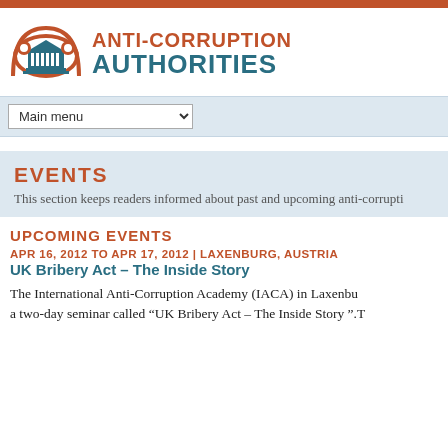[Figure (logo): Anti-Corruption Authorities logo with building/globe icon in teal and orange]
ANTI-CORRUPTION AUTHORITIES
Main menu
EVENTS
This section keeps readers informed about past and upcoming anti-corruption events.
UPCOMING EVENTS
APR 16, 2012 TO APR 17, 2012 | LAXENBURG, AUSTRIA
UK Bribery Act – The Inside Story
The International Anti-Corruption Academy (IACA) in Laxenburg held a two-day seminar called “UK Bribery Act – The Inside Story”.T